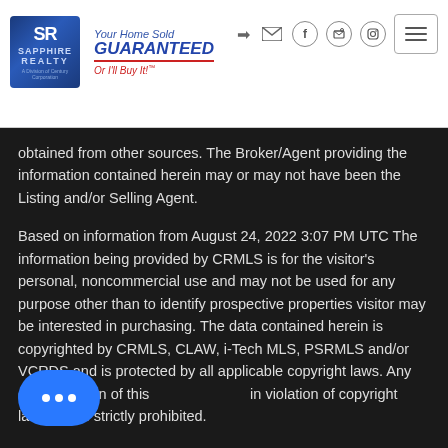Sapphire Realty — Your Home Sold GUARANTEED Or I'll Buy It!™
obtained from other sources. The Broker/Agent providing the information contained herein may or may not have been the Listing and/or Selling Agent.
Based on information from August 24, 2022 3:07 PM UTC The information being provided by CRMLS is for the visitor's personal, noncommercial use and may not be used for any purpose other than to identify prospective properties visitor may be interested in purchasing. The data contained herein is copyrighted by CRMLS, CLAW, i-Tech MLS, PSRMLS and/or VCRDS and is protected by all applicable copyright laws. Any dissemination of this in violation of copyright laws and is strictly prohibited.